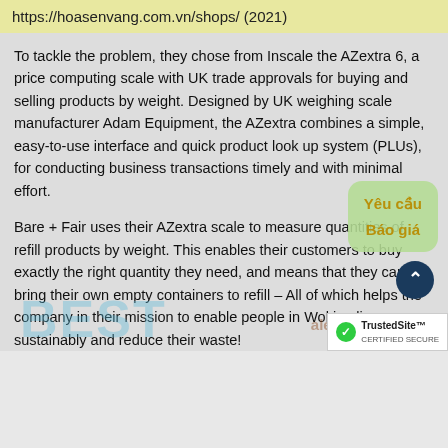https://hoasenvang.com.vn/shops/ (2021)
To tackle the problem, they chose from Inscale the AZextra 6, a price computing scale with UK trade approvals for buying and selling products by weight. Designed by UK weighing scale manufacturer Adam Equipment, the AZextra combines a simple, easy-to-use interface and quick product look up system (PLUs), for conducting business transactions timely and with minimal effort.
Bare + Fair uses their AZextra scale to measure quantities of refill products by weight. This enables their customers to buy exactly the right quantity they need, and means that they can bring their own empty containers to refill – All of which helps the company in their mission to enable people in Woking live more sustainably and reduce their waste!